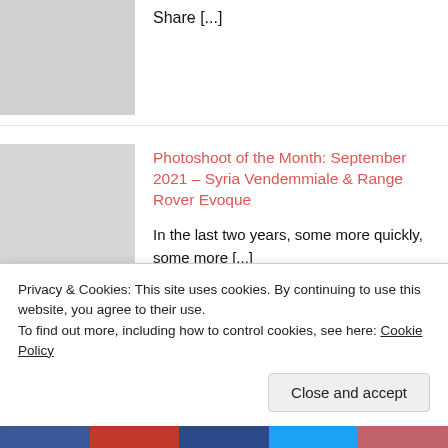Share [...]
[Figure (photo): Gray placeholder thumbnail for first article]
Photoshoot of the Month: September 2021 – Syria Vendemmiale & Range Rover Evoque
In the last two years, some more quickly, some more [...]
[Figure (photo): Photo of woman on Ducati Panigale V2 motorcycle at an event]
Pics of the Day: July17th 2021 – Emilia Dobrebv & Ducati Panigale V2
Emilia Dobrebv gets super-excited on the top of the [...]
Privacy & Cookies: This site uses cookies. By continuing to use this website, you agree to their use.
To find out more, including how to control cookies, see here: Cookie Policy
Close and accept